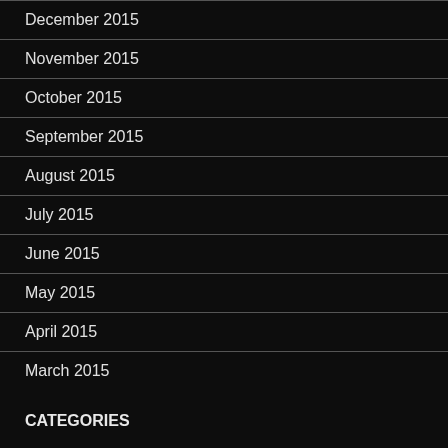December 2015
November 2015
October 2015
September 2015
August 2015
July 2015
June 2015
May 2015
April 2015
March 2015
CATEGORIES